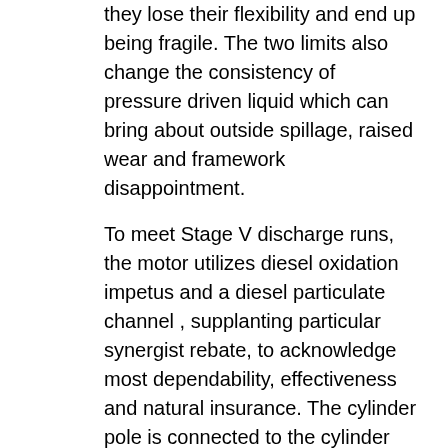they lose their flexibility and end up being fragile. The two limits also change the consistency of pressure driven liquid which can bring about outside spillage, raised wear and framework disappointment.
To meet Stage V discharge runs, the motor utilizes diesel oxidation impetus and a diesel particulate channel , supplanting particular synergist rebate, to acknowledge most dependability, effectiveness and natural insurance. The cylinder pole is connected to the cylinder and fluctuates long. The pole contracts and stretches out all through the chamber barrel and it is connected on to the part the administrator is moving. The cylinder is the inside component of the water powered chamber that movements contained in the chamber and partitions the chambers. Whether you're endeavoring to get a more prominent handle on your chamber skill or you're searching out chamber arrangements in your own machine, this again for you. Peruse on for our short